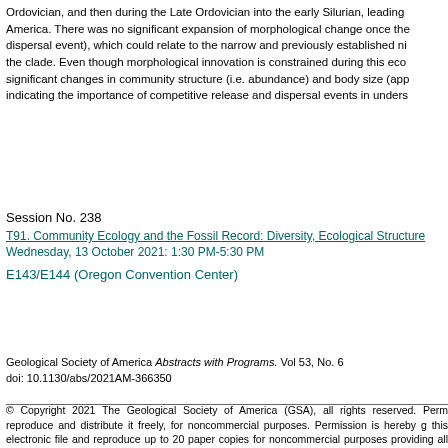Ordovician, and then during the Late Ordovician into the early Silurian, leading to North America. There was no significant expansion of morphological change once the dispersal event), which could relate to the narrow and previously established niche of the clade. Even though morphological innovation is constrained during this eco-significant changes in community structure (i.e. abundance) and body size (app indicating the importance of competitive release and dispersal events in underst
Session No. 238
T91. Community Ecology and the Fossil Record: Diversity, Ecological Structure
Wednesday, 13 October 2021: 1:30 PM-5:30 PM
E143/E144 (Oregon Convention Center)
Geological Society of America Abstracts with Programs. Vol 53, No. 6
doi: 10.1130/abs/2021AM-366350
© Copyright 2021 The Geological Society of America (GSA), all rights reserved. Permission is hereby granted to the author(s) of this abstract to reproduce and distribute it freely, for noncommercial purposes. Permission is hereby granted to any individual scientist to download a single copy of this electronic file and reproduce up to 20 paper copies for noncommercial purposes of scientific advancement or education, providing all reproductions include the complete content shown here, including the author information. All other forms of reproduction and/or transmittal are prohibited without written permission from GSA Copyright Permissions.
Back to: T91. Community Ecology and the Fossil Record: Diversity, Ecological...
<< Previous Abstract | Next Abstract